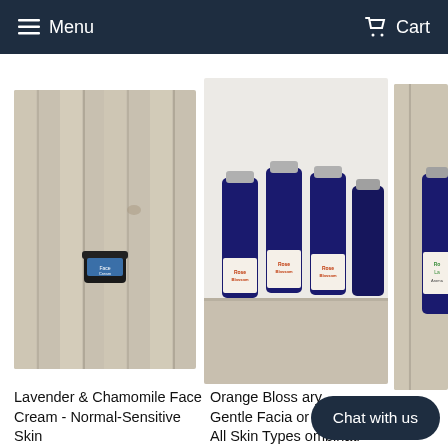Menu   Cart
[Figure (photo): Small dark jar of Lavender & Chamomile Face Cream on a light wood plank background]
[Figure (photo): Several dark blue bottles with orange label text (Rose Blossom Facial Toner) arranged on wood floor background]
[Figure (photo): Partial view of a blue bottle with a label on a light wood background]
Lavender & Chamomile Face Cream - Normal-Sensitive Skin
Orange Blossom Gentle Facial Toner - All Skin Types
...ary ...or ...ombination